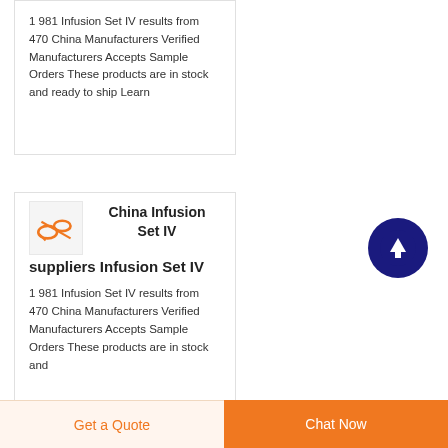1 981 Infusion Set IV results from 470 China Manufacturers Verified Manufacturers Accepts Sample Orders These products are in stock and ready to ship Learn
China Infusion Set IV suppliers Infusion Set IV
1 981 Infusion Set IV results from 470 China Manufacturers Verified Manufacturers Accepts Sample Orders These products are in stock and
Get a Quote
Chat Now